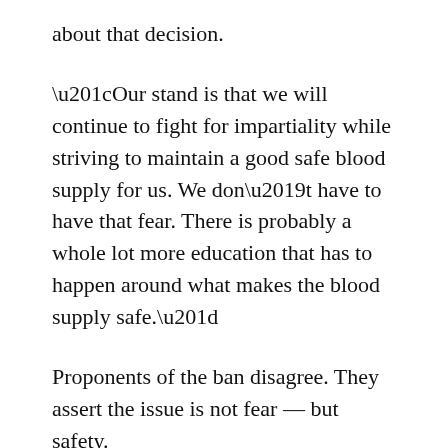about that decision.
“Our stand is that we will continue to fight for impartiality while striving to maintain a good safe blood supply for us. We don’t have to have that fear. There is probably a whole lot more education that has to happen around what makes the blood supply safe.”
Proponents of the ban disagree. They assert the issue is not fear — but safety.
“That anyone dares suggest lifting this policy and intentionally exposing Americans to a dramatically increased risk of potentially fatal disease is evidence of a politically